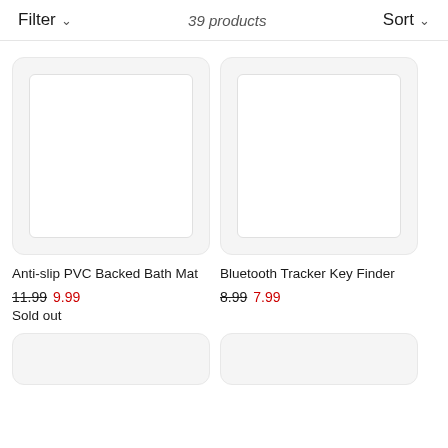Filter   39 products   Sort
[Figure (photo): Product image placeholder for Anti-slip PVC Backed Bath Mat — white/light gray empty image box]
Anti-slip PVC Backed Bath Mat
11.99  9.99
Sold out
[Figure (photo): Product image placeholder for Bluetooth Tracker Key Finder — white/light gray empty image box]
Bluetooth Tracker Key Finder
8.99  7.99